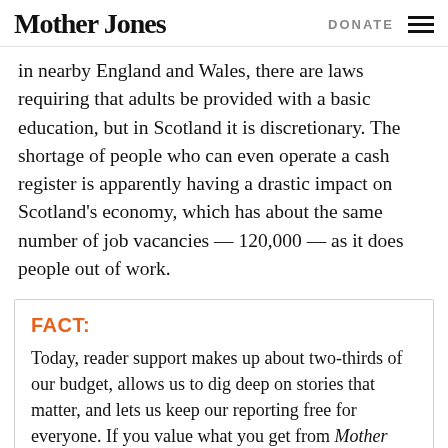Mother Jones | DONATE
in nearby England and Wales, there are laws requiring that adults be provided with a basic education, but in Scotland it is discretionary. The shortage of people who can even operate a cash register is apparently having a drastic impact on Scotland's economy, which has about the same number of job vacancies — 120,000 — as it does people out of work.
FACT:
Today, reader support makes up about two-thirds of our budget, allows us to dig deep on stories that matter, and lets us keep our reporting free for everyone. If you value what you get from Mother Jones, please join us with a